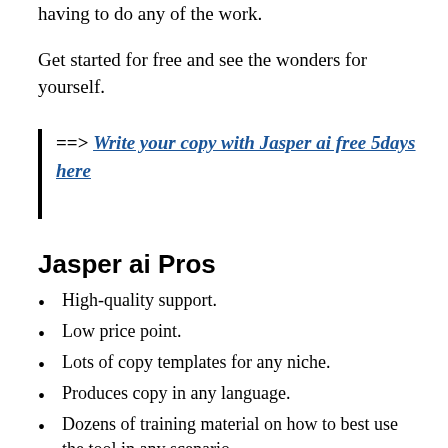composing content for your business, without you having to do any of the work.
Get started for free and see the wonders for yourself.
==> Write your copy with Jasper ai free 5days here
Jasper ai Pros
High-quality support.
Low price point.
Lots of copy templates for any niche.
Produces copy in any language.
Dozens of training material on how to best use the tool in any scenario.